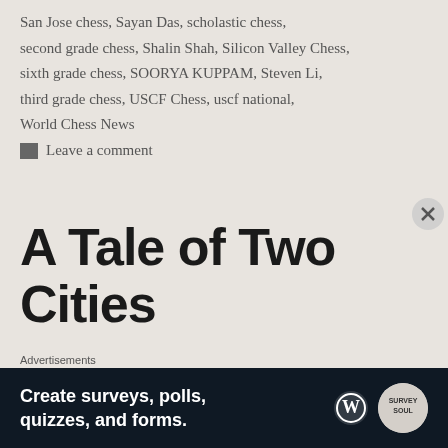San Jose chess, Sayan Das, scholastic chess, second grade chess, Shalin Shah, Silicon Valley Chess, sixth grade chess, SOORYA KUPPAM, Steven Li, third grade chess, USCF Chess, uscf national, World Chess News
Leave a comment
A Tale of Two Cities
Charles Dickens penned “It was the best of times, it was the worst of times…” as his opening line in his
Advertisements
Create surveys, polls, quizzes, and forms.